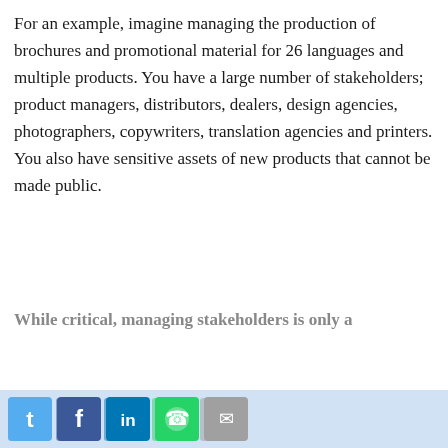For an example, imagine managing the production of brochures and promotional material for 26 languages and multiple products. You have a large number of stakeholders; product managers, distributors, dealers, design agencies, photographers, copywriters, translation agencies and printers. You also have sensitive assets of new products that cannot be made public.
While critical, managing stakeholders is only a part of the challenge. You also have sensitive assets of new products. Today individual solutions and tools, photos, design, copy, and other collaterals may be stored or worked on in different, unconnected ... most time in finding assets and accessing content.
We use cookies to remember login information, analyze site usage, tailor ads and provide a safe browsing experience. You can change your preferences. By navigating the site or clicking "OK" you agree to the use of cookies. WoodWing's Privacy Policy